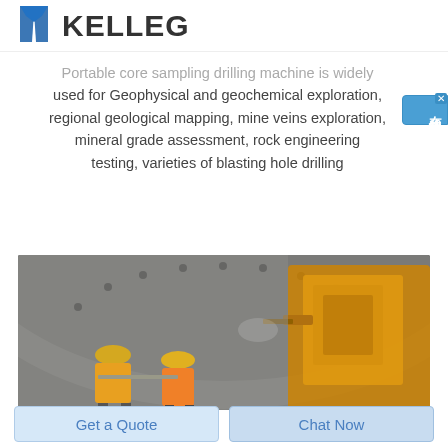KELLEG
Portable core sampling drilling machine is widely used for Geophysical and geochemical exploration, regional geological mapping, mine veins exploration, mineral grade assessment, rock engineering testing, varieties of blasting hole drilling
[Figure (photo): Workers in yellow hard hats operating yellow drilling equipment inside a tunnel or mine shaft. The machinery is a large yellow drill arm pressed against a curved rock or concrete wall with bolts/anchors visible.]
Get a Quote   Chat Now